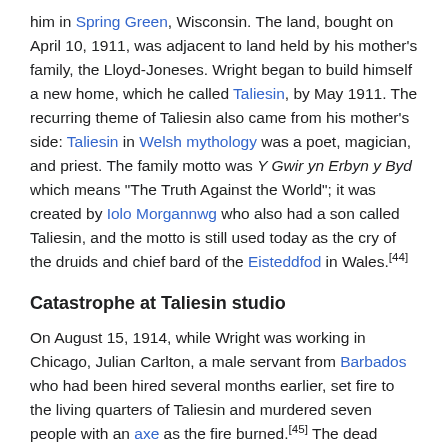him in Spring Green, Wisconsin. The land, bought on April 10, 1911, was adjacent to land held by his mother's family, the Lloyd-Joneses. Wright began to build himself a new home, which he called Taliesin, by May 1911. The recurring theme of Taliesin also came from his mother's side: Taliesin in Welsh mythology was a poet, magician, and priest. The family motto was Y Gwir yn Erbyn y Byd which means "The Truth Against the World"; it was created by Iolo Morgannwg who also had a son called Taliesin, and the motto is still used today as the cry of the druids and chief bard of the Eisteddfod in Wales.[44]
Catastrophe at Taliesin studio
On August 15, 1914, while Wright was working in Chicago, Julian Carlton, a male servant from Barbados who had been hired several months earlier, set fire to the living quarters of Taliesin and murdered seven people with an axe as the fire burned.[45] The dead included Mamah; her two children, John and Martha; a gardener; a draftsman named Emil Brodelle; a workman; and another workman's son. Two people survived the mayhem, one of whom, William Weston, helped to put out the fire that almost